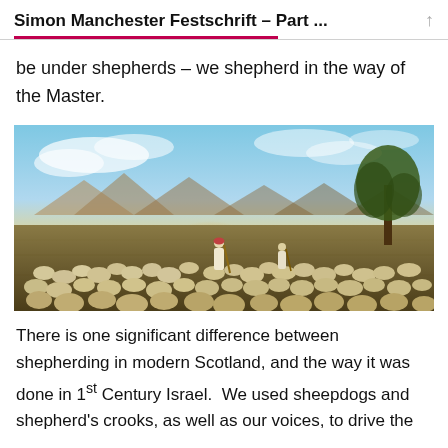Simon Manchester Festschrift – Part ...
be under shepherds – we shepherd in the way of the Master.
[Figure (photo): A shepherd walking among a large flock of sheep grazing on a flat open field at sunset, with mountains in the background and a tree on the right. The sky is lit with warm golden and blue tones.]
There is one significant difference between shepherding in modern Scotland, and the way it was done in 1st Century Israel.  We used sheepdogs and shepherd's crooks, as well as our voices, to drive the